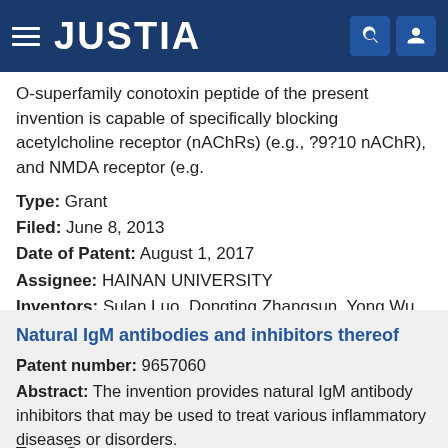JUSTIA
O-superfamily conotoxin peptide of the present invention is capable of specifically blocking acetylcholine receptor (nAChRs) (e.g., ?9?10 nAChR), and NMDA receptor (e.g.
Type: Grant
Filed: June 8, 2013
Date of Patent: August 1, 2017
Assignee: HAINAN UNIVERSITY
Inventors: Sulan Luo, Dongting Zhangsun, Yong Wu, Xiaopeng Zhu, Yuanyan Hu, J. Michael McIntosh
Natural IgM antibodies and inhibitors thereof
Patent number: 9657060
Abstract: The invention provides natural IgM antibody inhibitors that may be used to treat various inflammatory diseases or disorders.
Type: Grant